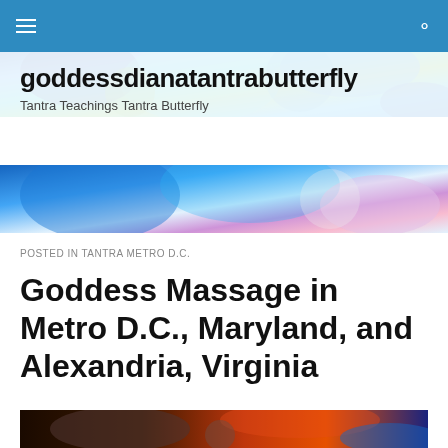goddessdianatantrabutterfly — navigation bar
[Figure (photo): Colorful abstract/artistic header image with blue, green, and other vivid colors, spanning the width of the page behind the site title]
goddessdianatantrabutterfly
Tantra Teachings Tantra Butterfly
[Figure (photo): Second strip of the same colorful header image showing blue and pink tones, partially cropped]
POSTED IN TANTRA METRO D.C.
Goddess Massage in Metro D.C., Maryland, and Alexandria, Virginia
[Figure (photo): Dark artistic image showing a figure with warm orange/red tones and swirling elements against a dark background, partially visible at bottom of page]